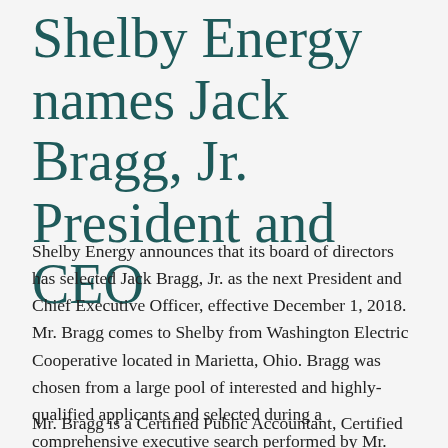Shelby Energy names Jack Bragg, Jr. President and CEO
Shelby Energy announces that its board of directors has selected Jack Bragg, Jr. as the next President and Chief Executive Officer, effective December 1, 2018. Mr. Bragg comes to Shelby from Washington Electric Cooperative located in Marietta, Ohio. Bragg was chosen from a large pool of interested and highly-qualified applicants and selected during a comprehensive executive search performed by Mr. Roy Palk, President of New Horizons Consulting with offices in Lexington, Kentucky and Bradenton, Florida.
Mr. Bragg is a Certified Public Accountant, Certified